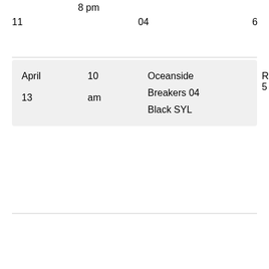|  | 8 pm |  |  |
| 11 |  | 04 | 6 |
| April
13 | 10
am | Oceanside
Breakers 04
Black SYL | Richland 5 |